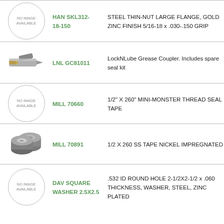| Image | SKU | Description |
| --- | --- | --- |
| NO IMAGE AVAILABLE | HAN SKL312-18-150 | STEEL THIN-NUT LARGE FLANGE, GOLD ZINC FINISH 5/16-18 x .030-.150 GRIP |
| [photo] | LNL GC81011 | LockNLube Grease Coupler. Includes spare seal kit |
| NO IMAGE AVAILABLE | MILL 70660 | 1/2" X 260" MINI-MONSTER THREAD SEAL TAPE |
| [photo] | MILL 70891 | 1/2 X 260 SS TAPE NICKEL IMPREGNATED |
| NO IMAGE AVAILABLE | DAV SQUARE WASHER 2.5X2.5 | .532 ID ROUND HOLE 2-1/2X2-1/2 x .060 THICKNESS, WASHER, STEEL, ZINC PLATED |